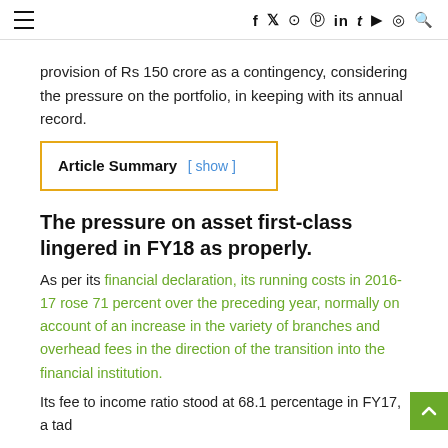≡  f  𝕏  📷  𝗣  in  t  ▶  👻  🔍
provision of Rs 150 crore as a contingency, considering the pressure on the portfolio, in keeping with its annual record.
Article Summary [ show ]
The pressure on asset first-class lingered in FY18 as properly.
As per its financial declaration, its running costs in 2016-17 rose 71 percent over the preceding year, normally on account of an increase in the variety of branches and overhead fees in the direction of the transition into the financial institution.
Its fee to income ratio stood at 68.1 percentage in FY17, a tad